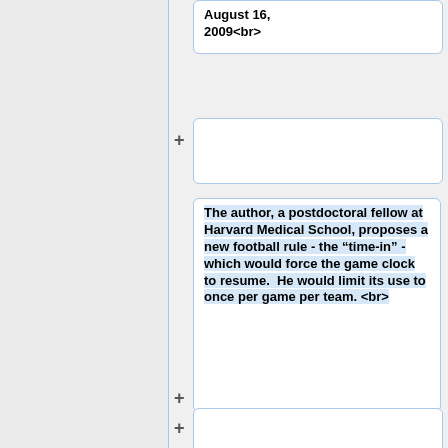August 16, 2009<br>
The author, a postdoctoral fellow at Harvard Medical School, proposes a new football rule - the “time-in” - which would force the game clock to resume.  He would limit its use to once per game per team. <br>